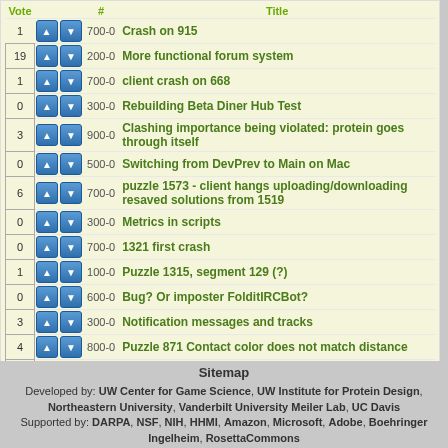| Vote | # | Title |
| --- | --- | --- |
| 1 | 700-0 | Crash on 915 |
| 19 | 200-0 | More functional forum system |
| 1 | 700-0 | client crash on 668 |
| 0 | 300-0 | Rebuilding Beta Diner Hub Test |
| 3 | 900-0 | Clashing importance being violated: protein goes through itself |
| 0 | 500-0 | Switching from DevPrev to Main on Mac |
| 6 | 700-0 | puzzle 1573 - client hangs uploading/downloading resaved solutions from 1519 |
| 0 | 300-0 | Metrics in scripts |
| 0 | 700-0 | 1321 first crash |
| 1 | 100-0 | Puzzle 1315, segment 129 (?) |
| 0 | 600-0 | Bug? Or imposter FolditIRCBot? |
| 3 | 300-0 | Notification messages and tracks |
| 4 | 800-0 | Puzzle 871 Contact color does not match distance |
| 0 | 500-0 | Wiggle Bug in Puzzle 1644 |
| 0 | 700-0 | Crashing in Reaction Design |
| 0 | 300-0 | "Show expected residue burials" no longer works |
« firs
Sitemap
Developed by: UW Center for Game Science, UW Institute for Protein Design, Northeastern University, Vanderbilt University Meiler Lab, UC Davis Supported by: DARPA, NSF, NIH, HHMI, Amazon, Microsoft, Adobe, Boehringer Ingelheim, RosettaCommons